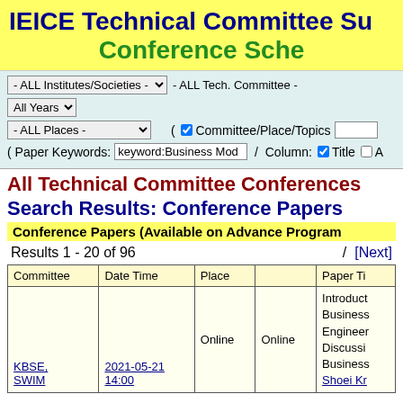IEICE Technical Committee Su Conference Sche
- ALL Institutes/Societies -   - ALL Tech. Committee -   All Years   - ALL Places -   ( ☑ Committee/Place/Topics   ( Paper Keywords: keyword:Business Mod / Column: ☑ Title ☐ A
All Technical Committee Conferences Search Results: Conference Papers
Conference Papers (Available on Advance Program
Results 1 - 20 of 96    /  [Next]
| Committee | Date Time | Place |  | Paper Ti |
| --- | --- | --- | --- | --- |
| KBSE, SWIM | 2021-05-21 14:00 | Online | Online | Introduct Business Engineer Discussi Business Shoei Kr |